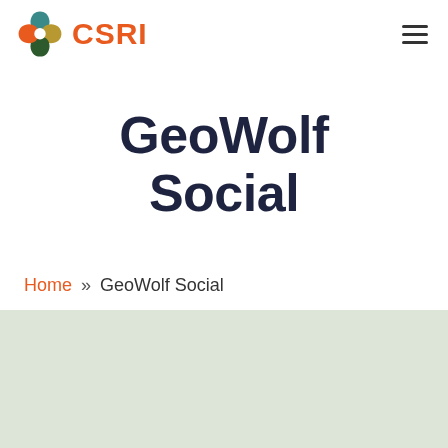[Figure (logo): CSRI logo with a stylized flower/snowflake icon in multiple colors (teal, gold, dark green, orange) and the text CSRI in orange]
GeoWolf Social
Home » GeoWolf Social